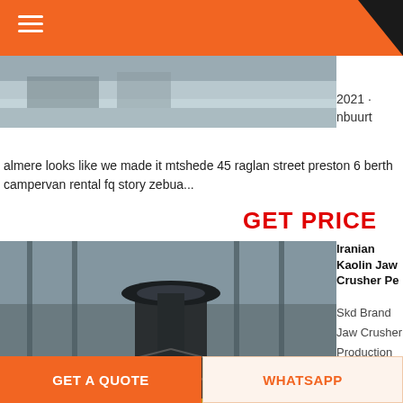[Figure (photo): Industrial warehouse or factory floor interior, gray concrete floor, machinery or equipment visible]
2021 ·
nbuurt
almere looks like we made it mtshede 45 raglan street preston 6 berth campervan rental fq story zebua...
GET PRICE
[Figure (photo): Large industrial machine (crusher or mill) inside a high-ceiling factory building with scaffolding and yellow safety markings on floor]
Iranian Kaolin Jaw Crusher Pe
Skd Brand
Jaw Crusher
Production Line From
Iran. Catalog
GET A QUOTE
WHATSAPP